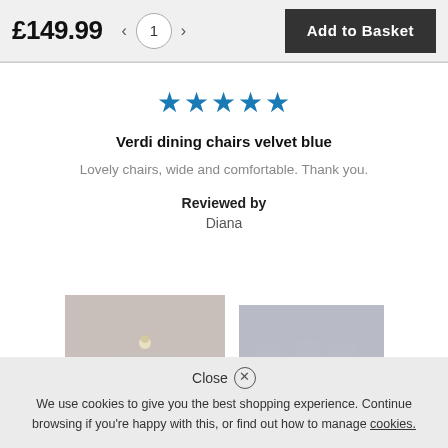£149.99
1
Add to Basket
[Figure (other): Five blue star rating icons]
Verdi dining chairs velvet blue
Lovely chairs, wide and comfortable. Thank you.
Reviewed by
Diana
[Figure (photo): Photo of wooden dining table with blue velvet chairs]
[Figure (photo): Photo of wooden dining table with blue velvet chairs from different angle]
Close
We use cookies to give you the best shopping experience. Continue browsing if you're happy with this, or find out how to manage cookies.